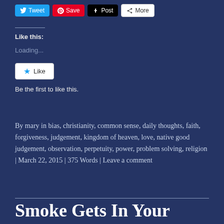[Figure (screenshot): Social sharing buttons: Tweet (blue), Save (red Pinterest), Post (black Tumblr), More (white)]
Like this:
Loading...
[Figure (screenshot): Like button with star icon]
Be the first to like this.
By mary in bias, christianity, common sense, daily thoughts, faith, forgiveness, judgement, kingdom of heaven, love, native good judgement, observation, perpetuity, power, problem solving, religion | March 22, 2015 | 375 Words | Leave a comment
Smoke Gets In Your